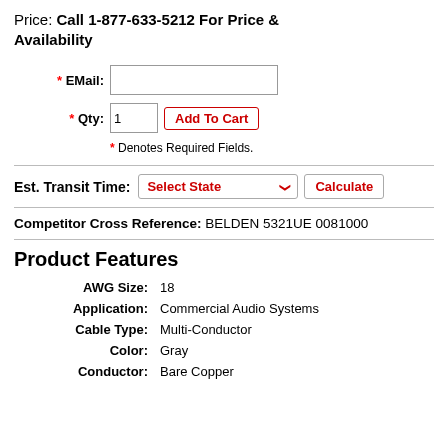Price: Call 1-877-633-5212 For Price & Availability
* EMail: [input field]
* Qty: 1  Add To Cart
* Denotes Required Fields.
Est. Transit Time: Select State [dropdown] Calculate [button]
Competitor Cross Reference: BELDEN 5321UE 0081000
Product Features
| AWG Size: | 18 |
| Application: | Commercial Audio Systems |
| Cable Type: | Multi-Conductor |
| Color: | Gray |
| Conductor: | Bare Copper |